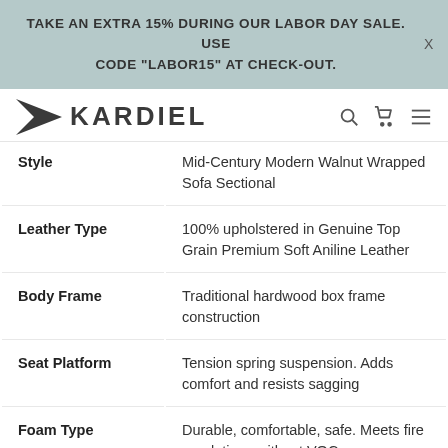TAKE AN EXTRA 15% DURING OUR LABOR DAY SALE. USE CODE "LABOR15" AT CHECK-OUT.
[Figure (logo): Kardiel brand logo with arrow icon and wordmark]
| Attribute | Value |
| --- | --- |
| Style | Mid-Century Modern Walnut Wrapped Sofa Sectional |
| Leather Type | 100% upholstered in Genuine Top Grain Premium Soft Aniline Leather |
| Body Frame | Traditional hardwood box frame construction |
| Seat Platform | Tension spring suspension. Adds comfort and resists sagging |
| Foam Type | Durable, comfortable, safe. Meets fire regulations without VOCs |
| Seating Comfort | Firm. Consistent support, no sag |